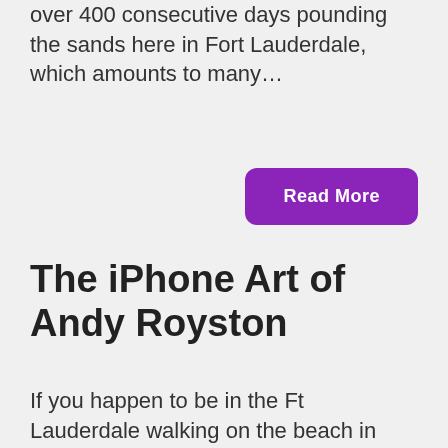over 400 consecutive days pounding the sands here in Fort Lauderdale, which amounts to many…
Read More
The iPhone Art of Andy Royston
If you happen to be in the Ft Lauderdale walking on the beach in the early morning, you have probably seen photographer Andy Royston. He's been walking along that stretch for six years now. Using